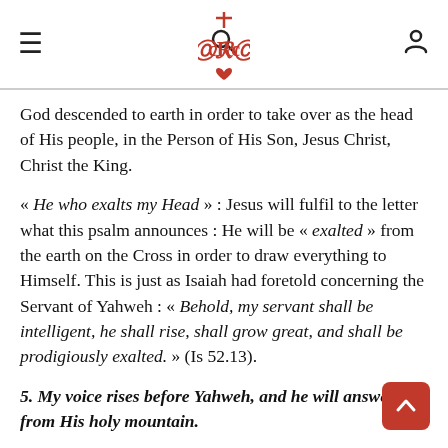CRC navigation header with menu, search, logo, and user icons
God descended to earth in order to take over as the head of His people, in the Person of His Son, Jesus Christ, Christ the King.
« He who exalts my Head » : Jesus will fulfil to the letter what this psalm announces : He will be « exalted » from the earth on the Cross in order to draw everything to Himself. This is just as Isaiah had foretold concerning the Servant of Yahweh : « Behold, my servant shall be intelligent, he shall rise, shall grow great, and shall be prodigiously exalted. » (Is 52.13).
5. My voice rises before Yahweh, and he will answer me from His holy mountain.